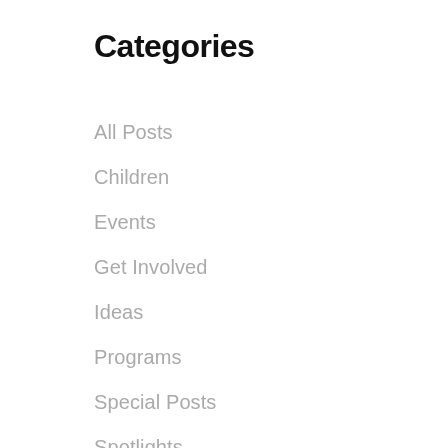Categories
All Posts
Children
Events
Get Involved
Ideas
Programs
Special Posts
Spotlights
Tutor Tips
Uncategorized